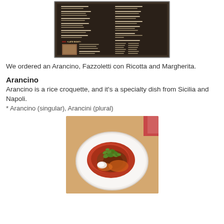[Figure (photo): A restaurant menu displayed on a table, showing items including 'LATE NIGHT' section with text partially legible]
We ordered an Arancino, Fazzoletti con Ricotta and Margherita.
Arancino
Arancino is a rice croquette, and it’s a specialty dish from Sicilia and Napoli.
* Arancino (singular), Arancini (plural)
[Figure (photo): A white plate with an arancino dish topped with tomato sauce and fresh microgreens/herbs, served at a restaurant]